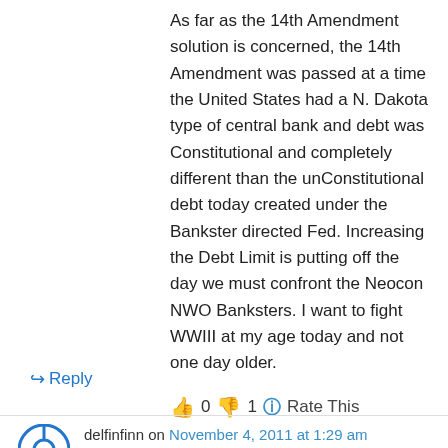As far as the 14th Amendment solution is concerned, the 14th Amendment was passed at a time the United States had a N. Dakota type of central bank and debt was Constitutional and completely different than the unConstitutional debt today created under the Bankster directed Fed. Increasing the Debt Limit is putting off the day we must confront the Neocon NWO Banksters. I want to fight WWIII at my age today and not one day older.
👍 0 👎 1 ℹ Rate This
↪ Reply
delfinfinn on November 4, 2011 at 1:29 am
this is informative, i really got some thoughts